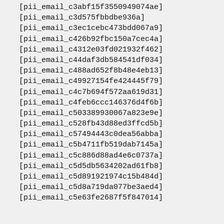[pii_email_c3abf15f35509490​74ae]
[pii_email_c3d575fbbdbe936a]
[pii_email_c3ec1cebc473bdd067a9]
[pii_email_c426b92fbc150a7cec4a]
[pii_email_c4312e03fd021932f462]
[pii_email_c44daf3db584541df034]
[pii_email_c488ad652f8b48e4eb13]
[pii_email_c49927154fe424445f79]
[pii_email_c4c7b694f572aa619d31]
[pii_email_c4feb6ccc146376d4f6b]
[pii_email_c503389930067a823e9e]
[pii_email_c528fb43d88ed3ffcd5b]
[pii_email_c57494443c0dea56abba]
[pii_email_c5b4711fb519dab7145a]
[pii_email_c5c886d88ad4e6c0737a]
[pii_email_c5d5db5634202ad61fb8]
[pii_email_c5d891921974c15b484d]
[pii_email_c5d8a719da077be3aed4]
[pii_email_c5e63fe2687f5f847014]